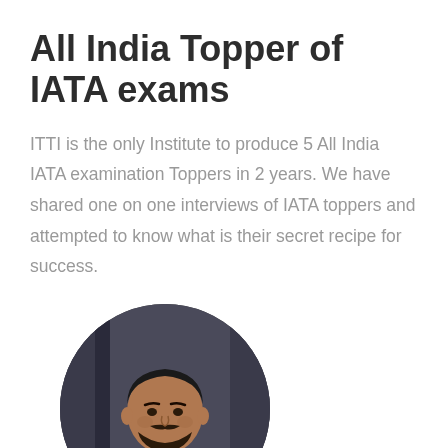All India Topper of IATA exams
ITTI is the only Institute to produce 5 All India IATA examination Toppers in 2 years. We have shared one on one interviews of IATA toppers and attempted to know what is their secret recipe for success.
[Figure (photo): Circular portrait photo of a young man wearing a grey suit and dark tie, with dark beard, against a blurred background]